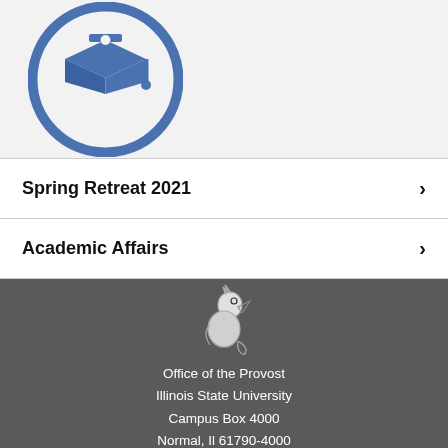[Figure (illustration): Blue circle with a white graduation cap icon inside]
Spring Retreat 2021
Academic Affairs
[Figure (logo): Illinois State University Redbird mascot logo in black and white]
Office of the Provost
Illinois State University
Campus Box 4000
Normal, Il 61790-4000
Contact Us
© 2022 Illinois State University